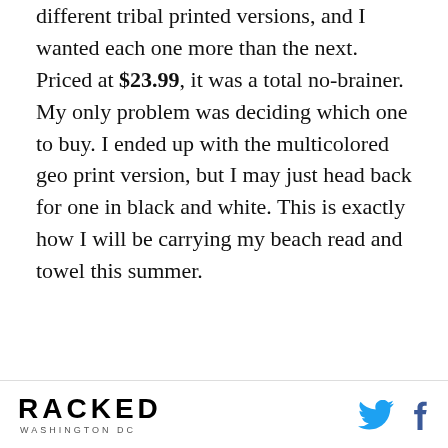different tribal printed versions, and I wanted each one more than the next. Priced at $23.99, it was a total no-brainer. My only problem was deciding which one to buy. I ended up with the multicolored geo print version, but I may just head back for one in black and white. This is exactly how I will be carrying my beach read and towel this summer.
[Figure (photo): A pink/magenta lipstick bullet in a silver metal tube, shown partially open, on a white background.]
RACKED WASHINGTON DC